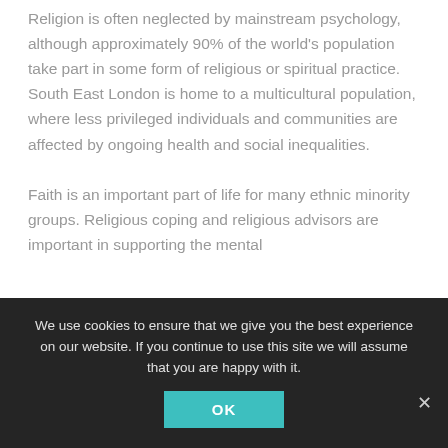Religion is often neglected by mainstream psychology, although approximately 90% of the world's population take part in some form of religious or spiritual practice. South East London is home to a multicultural population, where less privileged individuals and communities are affected by ongoing health and social inequalities.

Faith is an important part of life for many ethnic minority groups. Religious coping and religious advisors are important in supporting the mental
We use cookies to ensure that we give you the best experience on our website. If you continue to use this site we will assume that you are happy with it.